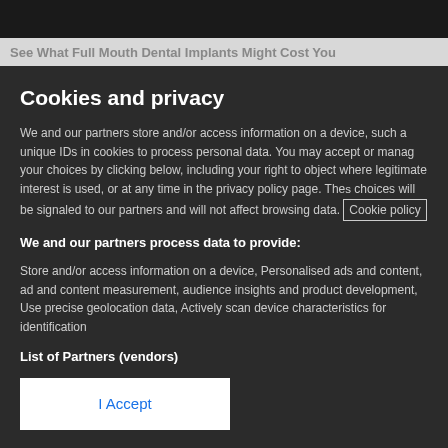[Figure (screenshot): Dark banner/image strip at top of page]
See What Full Mouth Dental Implants Might Cost You
Cookies and privacy
We and our partners store and/or access information on a device, such a unique IDs in cookies to process personal data. You may accept or manage your choices by clicking below, including your right to object where legitimate interest is used, or at any time in the privacy policy page. These choices will be signaled to our partners and will not affect browsing data. Cookie policy
We and our partners process data to provide:
Store and/or access information on a device, Personalised ads and content, ad and content measurement, audience insights and product development, Use precise geolocation data, Actively scan device characteristics for identification
List of Partners (vendors)
I Accept